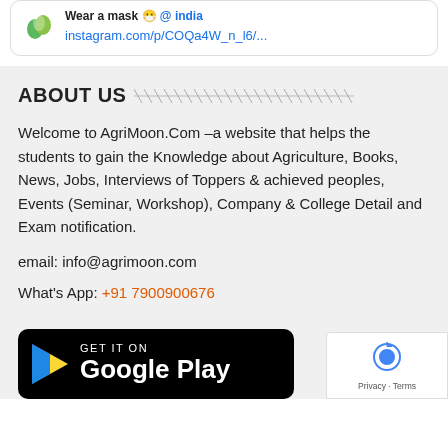[Figure (screenshot): Social media card showing logo, text 'Wear a mask @ india' and Instagram link instagram.com/p/COQa4W_n_l6/...]
ABOUT US
Welcome to AgriMoon.Com –a website that helps the students to gain the Knowledge about Agriculture, Books, News, Jobs, Interviews of Toppers & achieved peoples, Events (Seminar, Workshop), Company & College Detail and Exam notification.
email: info@agrimoon.com
What's App: +91 7900900676
[Figure (screenshot): Google Play Store badge with GET IT ON Google Play text and play button triangle logo]
[Figure (screenshot): reCAPTCHA badge showing Privacy and Terms links]